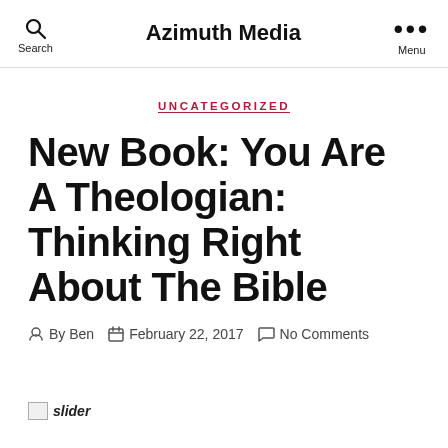Search  Azimuth Media  Menu
UNCATEGORIZED
New Book: You Are A Theologian: Thinking Right About The Bible
By Ben  February 22, 2017  No Comments
[Figure (photo): Broken image placeholder labeled 'slider']